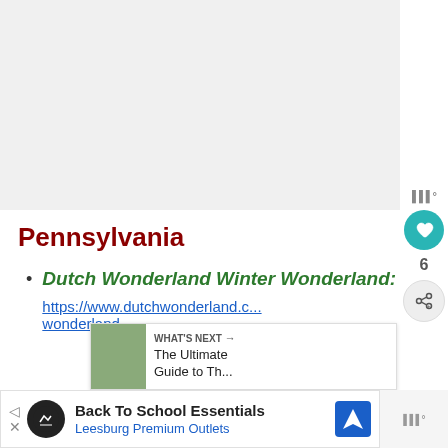[Figure (photo): Large image placeholder area at top of page, light gray background]
Pennsylvania
Dutch Wonderland Winter Wonderland: https://www.dutchwonderland.com/...wonderland
[Figure (screenshot): What's Next panel showing thumbnail and text: The Ultimate Guide to Th...]
[Figure (screenshot): Ad banner: Back To School Essentials, Leesburg Premium Outlets]